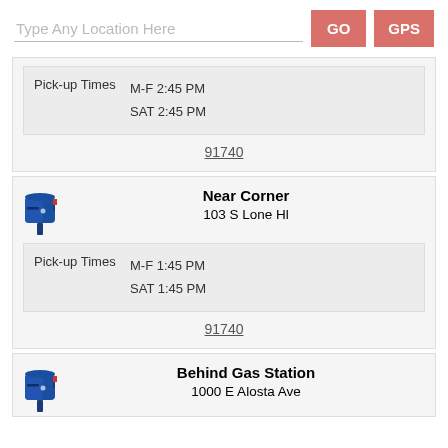Type Any Location Here  GO  GPS
Pick-up Times  M-F 2:45 PM  SAT 2:45 PM
91740
Near Corner
103 S Lone Hl
Pick-up Times  M-F 1:45 PM  SAT 1:45 PM
91740
Behind Gas Station
1000 E Alosta Ave